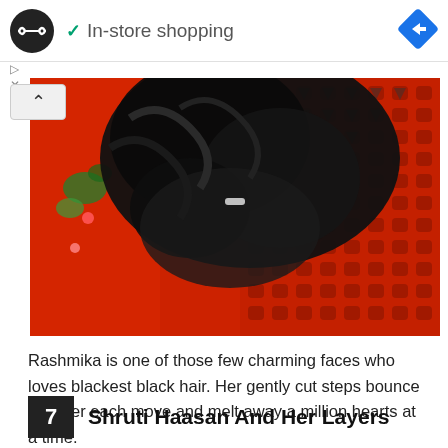[Figure (screenshot): Ad banner with circular black logo with infinity-like icon, green checkmark and text 'In-store shopping', blue diamond navigation icon on right, with small play and X icons below on the left]
[Figure (photo): Photo of a person with dark curly black hair, wearing a red dress with floral embroidery on left side and red geometric/eyelet pattern fabric on right side. The person's face is not visible, only hair and clothing.]
Rashmika is one of those few charming faces who loves blackest black hair. Her gently cut steps bounce with her each move and melt away a million hearts at a time.
7  Shruti Haasan And Her Layers